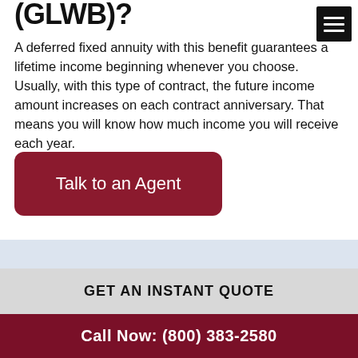(GLWB)?
A deferred fixed annuity with this benefit guarantees a lifetime income beginning whenever you choose. Usually, with this type of contract, the future income amount increases on each contract anniversary. That means you will know how much income you will receive each year.
Talk to an Agent
GET AN INSTANT QUOTE
Call Now: (800) 383-2580